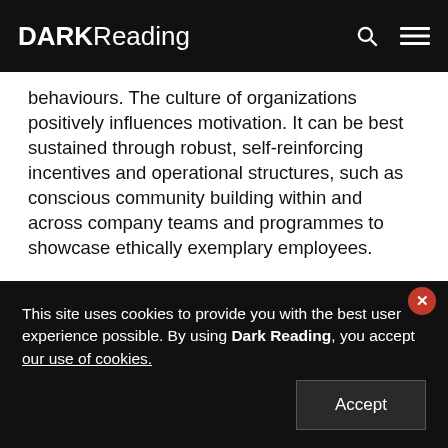DARK Reading
behaviours. The culture of organizations positively influences motivation. It can be best sustained through robust, self-reinforcing incentives and operational structures, such as conscious community building within and across company teams and programmes to showcase ethically exemplary employees.
“Deloitte, working with the World Economic Forum and the Markkula Center for Applied Ethics, sees this as a
This site uses cookies to provide you with the best user experience possible. By using Dark Reading, you accept our use of cookies.